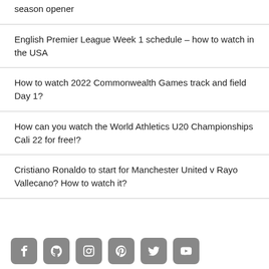season opener
English Premier League Week 1 schedule – how to watch in the USA
How to watch 2022 Commonwealth Games track and field Day 1?
How can you watch the World Athletics U20 Championships Cali 22 for free!?
Cristiano Ronaldo to start for Manchester United v Rayo Vallecano? How to watch it?
[Figure (infographic): Social media icon bar with Facebook, GitHub, Instagram, Pinterest, Twitter, and YouTube icons]